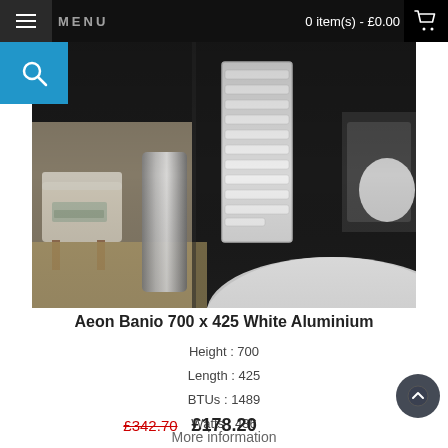MENU   0 item(s) - £0.00
[Figure (photo): Bathroom photo showing a white towel radiator mounted on a dark wall, with a chair and vase in the background and a white bathtub in the foreground]
Aeon Banio 700 x 425 White Aluminium
Height : 700
Length : 425
BTUs : 1489
Watts : 436
£342.70  £178.20
More information